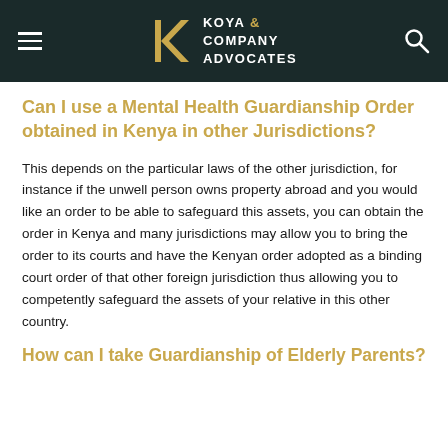Koya & Company Advocates
Can I use a Mental Health Guardianship Order obtained in Kenya in other Jurisdictions?
This depends on the particular laws of the other jurisdiction, for instance if the unwell person owns property abroad and you would like an order to be able to safeguard this assets, you can obtain the order in Kenya and many jurisdictions may allow you to bring the order to its courts and have the Kenyan order adopted as a binding court order of that other foreign jurisdiction thus allowing you to competently safeguard the assets of your relative in this other country.
How can I take Guardianship of Elderly Parents?